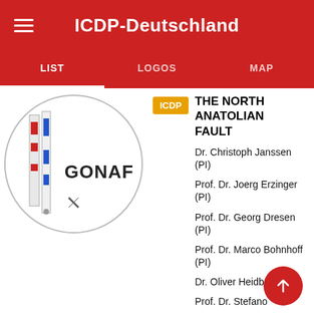ICDP-Deutschland
LIST | LOGOS | MAP
[Figure (logo): GONAF circular logo with drill core imagery and borehole instruments]
THE NORTH ANATOLIAN FAULT
Dr. Christoph Janssen (PI)
Prof. Dr. Joerg Erzinger (PI)
Prof. Dr. Georg Dresen (PI)
Prof. Dr. Marco Bohnhoff (PI)
Dr. Oliver Heidba…
Prof. Dr. Stefano